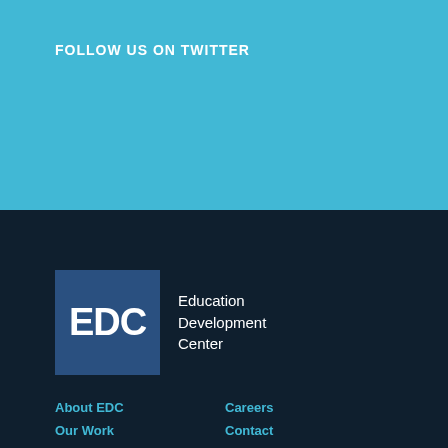FOLLOW US ON TWITTER
[Figure (logo): EDC Education Development Center logo — blue square with white 'EDC' text and company name]
About EDC
Our Work
Global Reach
Careers
Contact
Newsroom